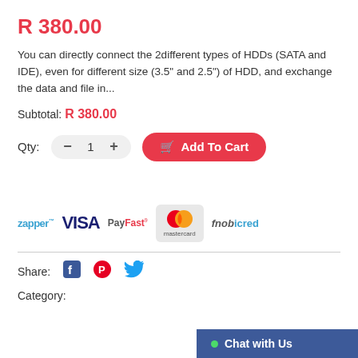R 380.00
You can directly connect the 2different types of HDDs (SATA and IDE), even for different size (3.5" and 2.5") of HDD, and exchange the data and file in...
Subtotal: R 380.00
Qty: 1 — Add To Cart
[Figure (logo): Payment logos: Zapper, VISA, PayFast, Mastercard, Mobicred]
Share:
Category:
Chat with Us